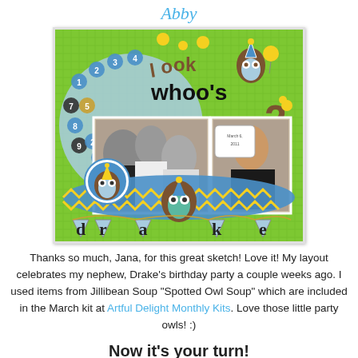Abby
[Figure (photo): A scrapbook layout page celebrating Drake's 2nd birthday party, featuring photos of children at a party, owl decorations, pennant banner spelling 'drake', and text reading 'look whoo's 2' on a green grid paper background with blue and yellow accents.]
Thanks so much, Jana, for this great sketch! Love it! My layout celebrates my nephew, Drake's birthday party a couple weeks ago. I used items from Jillibean Soup "Spotted Owl Soup" which are included in the March kit at Artful Delight Monthly Kits. Love those little party owls! :)
Now it's your turn!
Create a layout or other paper project that follows Jana's